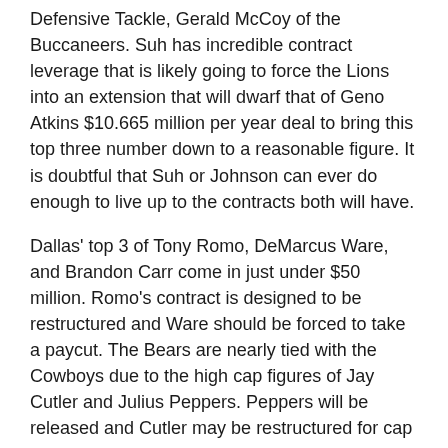Defensive Tackle, Gerald McCoy of the Buccaneers. Suh has incredible contract leverage that is likely going to force the Lions into an extension that will dwarf that of Geno Atkins $10.665 million per year deal to bring this top three number down to a reasonable figure. It is doubtful that Suh or Johnson can ever do enough to live up to the contracts both will have.
Dallas' top 3 of Tony Romo, DeMarcus Ware, and Brandon Carr come in just under $50 million. Romo's contract is designed to be restructured and Ware should be forced to take a paycut. The Bears are nearly tied with the Cowboys due to the high cap figures of Jay Cutler and Julius Peppers. Peppers will be released and Cutler may be restructured for cap flexibility. The Steelers and Buccaneers round out the top 5, both coming in at just over $44 million. The Steelers have limited ways to change their number without a number of restructures, but the Buccaneers could restructure the deal of Darrelle Revis and/or extend Gerald McCoy.
The average spend on the top 3 is $35.19 million. The teams with the least invested are the Raiders, Jaguars, Colts, 49ers, and